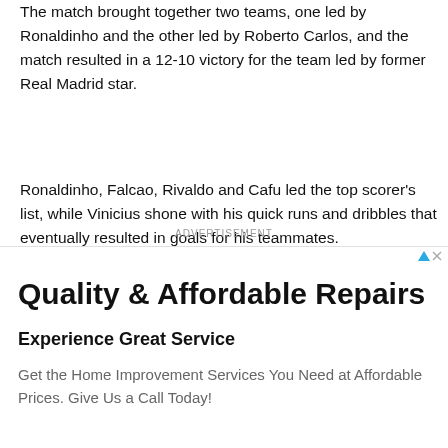The match brought together two teams, one led by Ronaldinho and the other led by Roberto Carlos, and the match resulted in a 12-10 victory for the team led by former Real Madrid star.
Ronaldinho, Falcao, Rivaldo and Cafu led the top scorer's list, while Vinicius shone with his quick runs and dribbles that eventually resulted in goals for his teammates.
ADVERTISEMENT
[Figure (infographic): Advertisement banner: 'Quality & Affordable Repairs' heading, 'Experience Great Service' subheading, body text 'Get the Home Improvement Services You Need at Affordable Prices. Give Us a Call Today!']